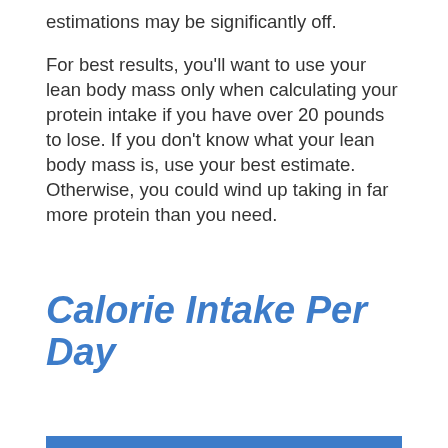estimations may be significantly off.
For best results, you'll want to use your lean body mass only when calculating your protein intake if you have over 20 pounds to lose. If you don't know what your lean body mass is, use your best estimate. Otherwise, you could wind up taking in far more protein than you need.
Calorie Intake Per Day